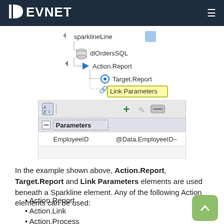DEVNET
[Figure (screenshot): Tree view showing sparklineLine, dlOrdersSQL, Action.Report, Target.Report, and Link Parameters nodes in a hierarchy]
[Figure (screenshot): Parameters panel showing EmployeeID mapped to @Data.EmployeeID~ with toolbar icons for sort, add, edit, remove]
In the example shown above, Action.Report, Target.Report and Link Parameters elements are used beneath a Sparkline element. Any of the following Action elements can be used:
Action.Report
Action.Link
Action.Process